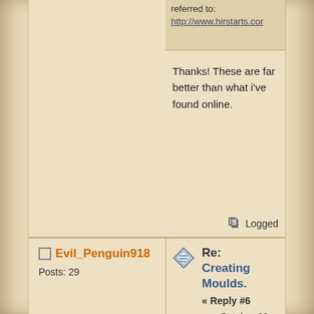referred to:
http://www.hirstarts.cor
Thanks! These are far better than what i've found online.
Logged
Evil_Penguin918
Posts: 29
Re: Creating Moulds.
« Reply #6 on: October 29, 2015, 06:27:20 PM »
Thanks for the help everyone. Been a great help 😀
Quote from: Zygmund on October 29, 2015, 06:10:45 PM